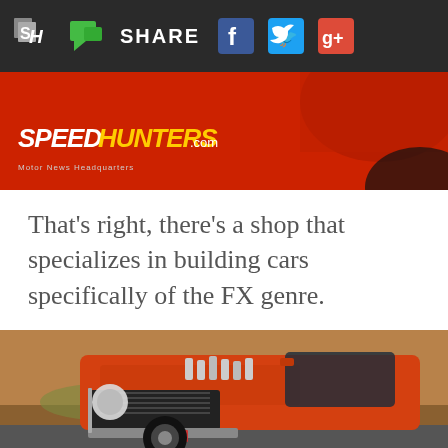SH | SHARE [facebook] [twitter] [google+]
[Figure (photo): Speedhunters.com logo on red background with partial view of a red car]
That's right, there's a shop that specializes in building cars specifically of the FX genre.
[Figure (photo): Orange/red classic Ford Falcon FX car photographed from the front-side angle with chrome engine stacks visible on hood, desert landscape background]